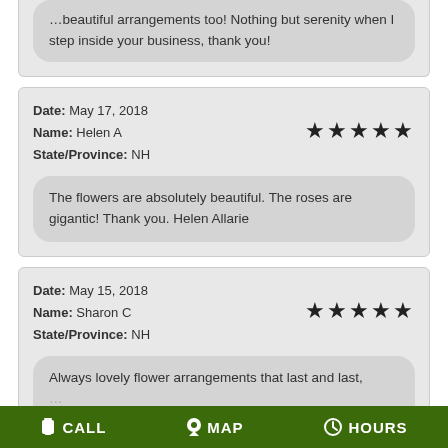...beautiful arrangements too! Nothing but serenity when I step inside your business, thank you!
Date: May 17, 2018
Name: Helen A
State/Province: NH
★★★★★
The flowers are absolutely beautiful. The roses are gigantic! Thank you. Helen Allarie
Date: May 15, 2018
Name: Sharon C
State/Province: NH
★★★★★
Always lovely flower arrangements that last and last,
CALL   MAP   HOURS